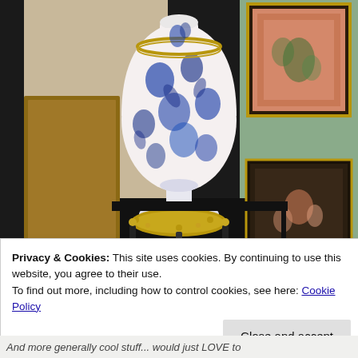[Figure (photo): A large blue and white floral porcelain vase/lamp on an ornate gilt metal stand, displayed on a black table. Behind it on the right are framed artworks on a light green wall. The background shows wooden furniture on the left.]
Privacy & Cookies: This site uses cookies. By continuing to use this website, you agree to their use.
To find out more, including how to control cookies, see here: Cookie Policy
Close and accept
And more generally cool stuff... would just LOVE to